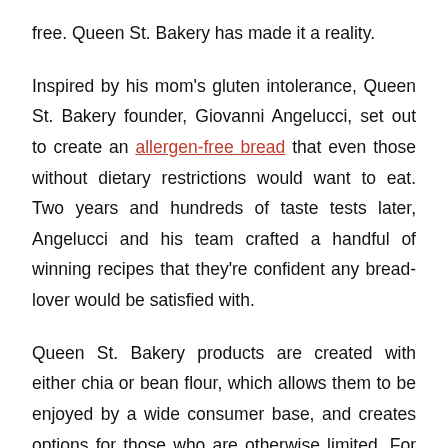free. Queen St. Bakery has made it a reality.
Inspired by his mom's gluten intolerance, Queen St. Bakery founder, Giovanni Angelucci, set out to create an allergen-free bread that even those without dietary restrictions would want to eat. Two years and hundreds of taste tests later, Angelucci and his team crafted a handful of winning recipes that they're confident any bread-lover would be satisfied with.
Queen St. Bakery products are created with either chia or bean flour, which allows them to be enjoyed by a wide consumer base, and creates options for those who are otherwise limited. For Angelucci, receiving customer feedback is the highlight of his...